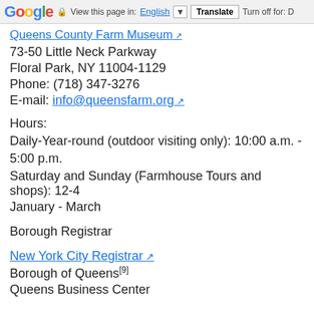Google | View this page in: English | Translate | Turn off for: D
Queens County Farm Museum
73-50 Little Neck Parkway
Floral Park, NY 11004-1129
Phone: (718) 347-3276
E-mail: info@queensfarm.org
Hours:
Daily-Year-round (outdoor visiting only): 10:00 a.m. - 5:00 p.m.
Saturday and Sunday (Farmhouse Tours and shops): 12-4
January - March
Borough Registrar
New York City Registrar
Borough of Queens[9]
Queens Business Center